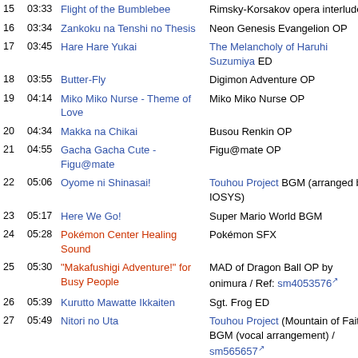| # | Time | Title | Source |
| --- | --- | --- | --- |
| 15 | 03:33 | Flight of the Bumblebee | Rimsky-Korsakov opera interlude |
| 16 | 03:34 | Zankoku na Tenshi no Thesis | Neon Genesis Evangelion OP |
| 17 | 03:45 | Hare Hare Yukai | The Melancholy of Haruhi Suzumiya ED |
| 18 | 03:55 | Butter-Fly | Digimon Adventure OP |
| 19 | 04:14 | Miko Miko Nurse - Theme of Love | Miko Miko Nurse OP |
| 20 | 04:34 | Makka na Chikai | Busou Renkin OP |
| 21 | 04:55 | Gacha Gacha Cute - Figu@mate | Figu@mate OP |
| 22 | 05:06 | Oyome ni Shinasai! | Touhou Project BGM (arranged by IOSYS) |
| 23 | 05:17 | Here We Go! | Super Mario World BGM |
| 24 | 05:28 | Pokémon Center Healing Sound | Pokémon SFX |
| 25 | 05:30 | "Makafushigi Adventure!" for Busy People | MAD of Dragon Ball OP by onimura / Ref: sm4053576 |
| 26 | 05:39 | Kurutto Mawatte Ikkaiten | Sgt. Frog ED |
| 27 | 05:49 | Nitori no Uta | Touhou Project (Mountain of Faith) BGM (vocal arrangement) / sm565657 |
| 28 | 06:07 | Taishou e | Higurashi no Naku Koro ni Kai ED |